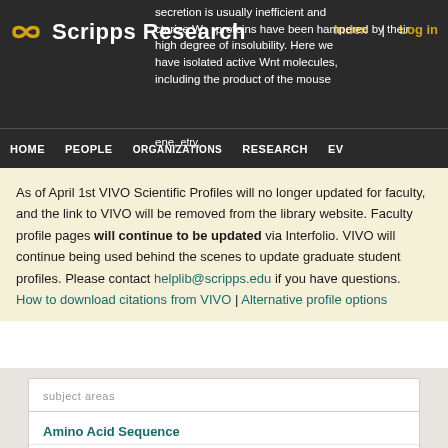Scripps Research | Index | Log in
secretion is usually inefficient and characterize Wnt proteins have been hampered by their high degree of insolubility. Here we have isolated active Wnt molecules, including the product of the mouse gene, and by mass spectrometry, we found the proteins to be palmitoylated on a conserved
HOME | PEOPLE | ORGANIZATIONS | RESEARCH | EV
As of April 1st VIVO Scientific Profiles will no longer updated for faculty, and the link to VIVO will be removed from the library website. Faculty profile pages will continue to be updated via Interfolio. VIVO will continue being used behind the scenes to update graduate student profiles. Please contact helplib@scripps.edu if you have questions.
How to download citations from VIVO | Alternative profile options
| subject areas |
| --- |
| Amino Acid Sequence |
| Animals |